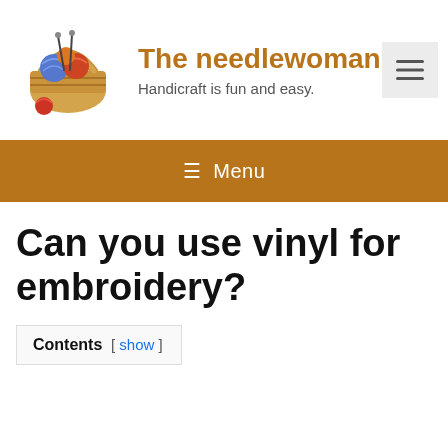[Figure (illustration): A wicker basket filled with colorful yarn balls (blue, red, orange) and knitting needles sticking out, with a yarn ball on the side — the site logo illustration.]
The needlewoman's d
Handicraft is fun and easy.
[Figure (other): Hamburger menu button (three horizontal lines) in a light gray square, top right of header.]
≡ Menu
Can you use vinyl for embroidery?
Contents [ show ]